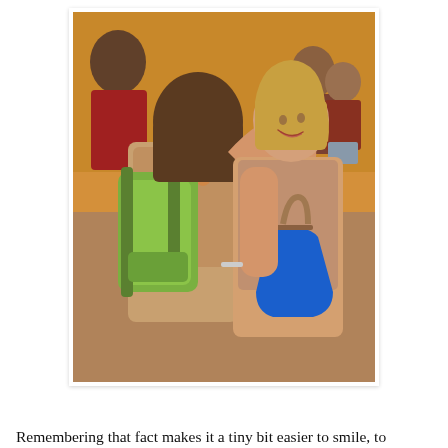[Figure (photo): Two women hugging in a crowded indoor space. One faces away from the camera with dark brown hair and a green backpack with a floral patterned top. The other faces the camera with blonde hair, a sleeveless top, and carrying a large blue handbag with tan straps. The background shows other people in a warm orange-walled room.]
Remembering that fact makes it a tiny bit easier to smile, to